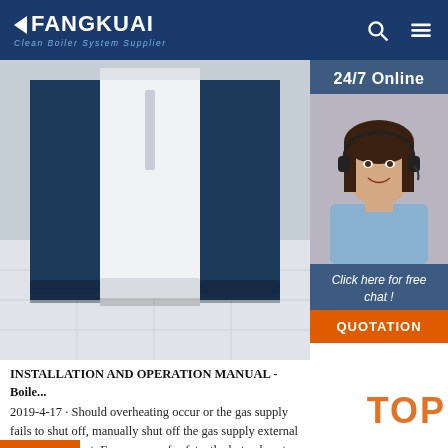FANGKUAI - Clean Boiler System Supplier
[Figure (photo): Industrial boiler installation showing white and dark blue cabinet units on tiled floor]
[Figure (photo): 24/7 Online customer service agent - woman with headset smiling]
24/7 Online
Click here for free chat !
QUOTATION
INSTALLATION AND OPERATION MANUAL - Boile... 2019-4-17 · Should overheating occur or the gas supply fails to shut off, manually shut off the gas supply external to the equipment. For reasons of safety, the hot exhaust gas duct and chimney must be insulated or shielded within the location of the heater in compliance with local codes and regulations. Check daily that the boiler area is free and clear of